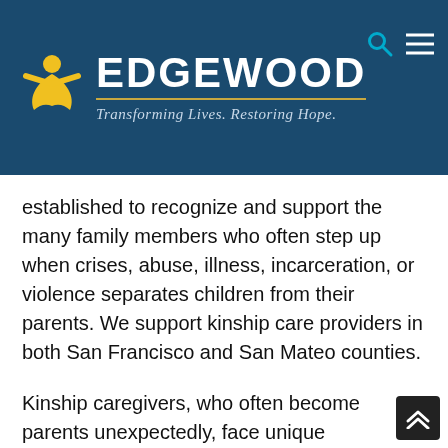[Figure (logo): Edgewood logo with yellow figure icon, white EDGEWOOD text, gold underline, and italic tagline 'Transforming Lives. Restoring Hope.' on dark blue background. Search and menu icons top right.]
established to recognize and support the many family members who often step up when crises, abuse, illness, incarceration, or violence separates children from their parents. We support kinship care providers in both San Francisco and San Mateo counties.
Kinship caregivers, who often become parents unexpectedly, face unique challenges to successfully raising children, including difficulties enrolling children in school, authorizing medical treatment, maintaining their public housing leases, obtaining affordable legal services, and accessing a variety of federal benefits and services. Almost one-fifth of grandparents responsible for their